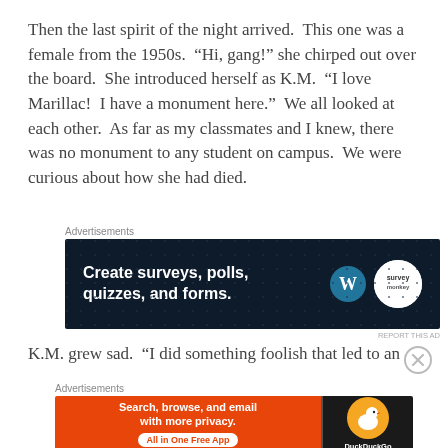Then the last spirit of the night arrived.  This one was a female from the 1950s.  “Hi, gang!” she chirped out over the board.  She introduced herself as K.M.  “I love Marillac!  I have a monument here.”  We all looked at each other.  As far as my classmates and I knew, there was no monument to any student on campus.  We were curious about how she had died.
[Figure (screenshot): Advertisement banner: dark navy background with text 'Create surveys, polls, quizzes, and forms.' with WordPress and survey logos on the right.]
K.M. grew sad.  “I did something foolish that led to an
[Figure (screenshot): Advertisement banner: orange background with DuckDuckGo branding. Text reads 'Search, browse, and email with more privacy. All in One Free App']